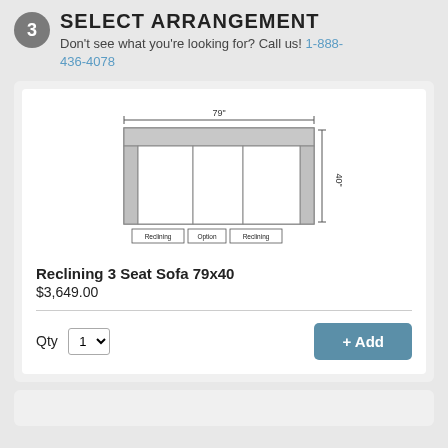SELECT ARRANGEMENT
Don't see what you're looking for? Call us! 1-888-436-4078
[Figure (schematic): Top-down floor plan schematic of a 3-seat reclining sofa measuring 79x40 inches. Shows three seat sections labeled Reclining, Option, Reclining from left to right. Width dimension labeled 79" at top.]
Reclining 3 Seat Sofa 79x40
$3,649.00
Qty 1
+ Add